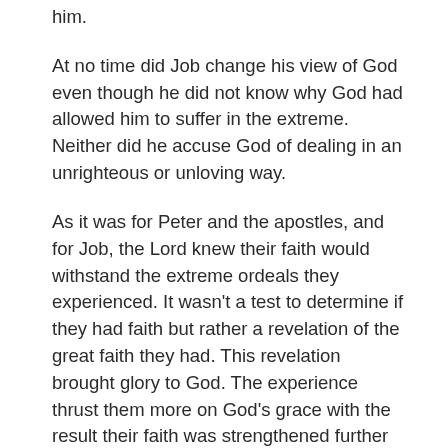him.
At no time did Job change his view of God even though he did not know why God had allowed him to suffer in the extreme. Neither did he accuse God of dealing in an unrighteous or unloving way.
As it was for Peter and the apostles, and for Job, the Lord knew their faith would withstand the extreme ordeals they experienced. It wasn't a test to determine if they had faith but rather a revelation of the great faith they had. This revelation brought glory to God. The experience thrust them more on God's grace with the result their faith was strengthened further by the experience.
To seek suffering would be lunacy and some suffering may be because of our own sin and wickedness but when the Lord allows His precious saints to suffer it is to reveal and